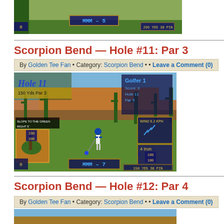[Figure (screenshot): Golden Tee golf game screenshot showing hole with score MMM -5 and 296 yardage display]
Scorpion Bend — Hole #11: Par 3
By Golden Tee Fan • Category: Scorpion Bend • • Leave a Comment (0)
[Figure (screenshot): Golden Tee golf game screenshot of Hole 11, Par 3, 150 yards, desert course with cacti, golfer figure, MMM -7 score, 4 Iron club selected, wind indicator]
Scorpion Bend — Hole #12: Par 4
By Golden Tee Fan • Category: Scorpion Bend • • Leave a Comment (0)
[Figure (screenshot): Golden Tee golf game screenshot partial view at bottom of page]